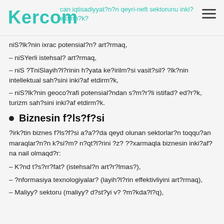Kercom | Azərbaycan iqtisadiyyat?n?n qeyri-neft sektorunu inki? etdirm?k?
niS?lk?nin ixrac potensial?n? art?rmaq,
– niSYerli istehsal? art?rmaq,
– niS ?TniSlayih?l?rinin h?yata ke?irilm?si vasit?sil? ?lk?nin intellektual sah?sini inki?af etdirm?k,
– niS?lk?nin geoco?rafi potensial?ndan s?m?r?li istifad? ed?r?k, turizm sah?sini inki?af etdirm?k.
Biznesin f?ls?f?si
?irk?tin biznes f?ls?f?si a?a??da qeyd olunan sektorlar?n toqqu?an maraqlar?n?n k?si?m? n?qt?l?rini ?z? ??xarmaqla biznesin inki?af?na nail olmaqd?r:
– K?nd t?s?rr?fat? (istehsal?n art?r?lmas?),
– ?nformasiya texnologiyalar? (layih?l?rin effektivliyini art?rmaq),
– Maliyy? sektoru (maliyy? d?st?yi v? ?m?kda?l?q),